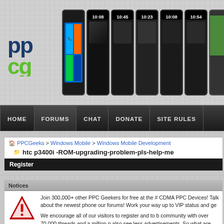[Figure (logo): PPCG logo with PP in dark blue and CG in green, stylized letters]
[Figure (photo): Row of 7 smartphone images showing various Android and Windows Mobile devices with time displays]
HOME | FORUMS | CHAT | DONATE | SITE RULES
PPCGeeks > Windows Mobile > Windows Mobile Development
htc p3400i -ROM-upgrading-problem-pls-help-me
Register
Notices
Join 300,000+ other PPC Geekers for free at the # CDMA PPC Devices! Talk about the newest phone our forums! Work your way up to VIP status and ge
We encourage all of our visitors to register and to b community with over 70,000 threads and a million p also see less advertisements. So what are you wai today!